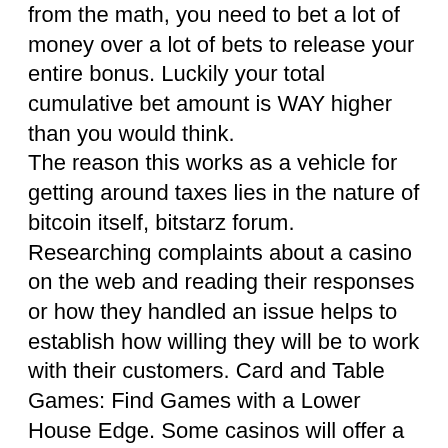from the math, you need to bet a lot of money over a lot of bets to release your entire bonus. Luckily your total cumulative bet amount is WAY higher than you would think.
The reason this works as a vehicle for getting around taxes lies in the nature of bitcoin itself, bitstarz forum.
Researching complaints about a casino on the web and reading their responses or how they handled an issue helps to establish how willing they will be to work with their customers. Card and Table Games: Find Games with a Lower House Edge. Some casinos will offer a dizzying array of different card and table games from which to choose, frequently offering several different variations on the same game. The difference in the house edge between these variations can be quite substantial, and picking the variant with the lowest house edge can do wonders in